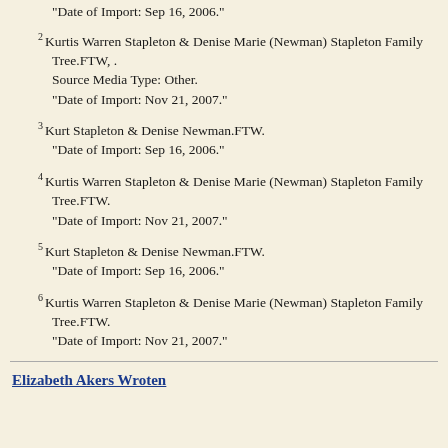"Date of Import: Sep 16, 2006."
2Kurtis Warren Stapleton & Denise Marie (Newman) Stapleton Family Tree.FTW, .
Source Media Type: Other.
"Date of Import: Nov 21, 2007."
3Kurt Stapleton & Denise Newman.FTW.
"Date of Import: Sep 16, 2006."
4Kurtis Warren Stapleton & Denise Marie (Newman) Stapleton Family Tree.FTW.
"Date of Import: Nov 21, 2007."
5Kurt Stapleton & Denise Newman.FTW.
"Date of Import: Sep 16, 2006."
6Kurtis Warren Stapleton & Denise Marie (Newman) Stapleton Family Tree.FTW.
"Date of Import: Nov 21, 2007."
Elizabeth Akers Wroten